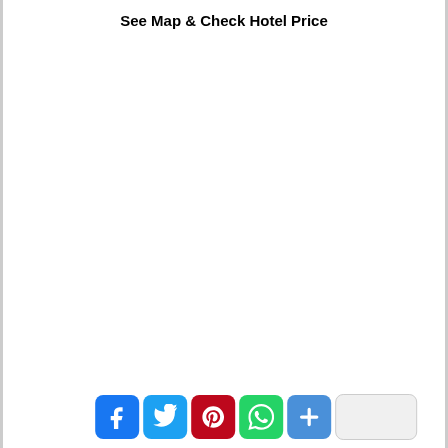See Map & Check Hotel Price
[Figure (other): Social sharing buttons: Facebook, Twitter, Pinterest, WhatsApp, More (+), and a blank/share button]